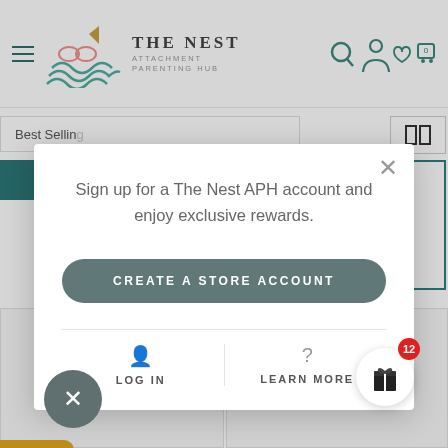[Figure (screenshot): Website screenshot of 'The Nest Attachment Parenting Hub' e-commerce site with a modal popup dialog]
Sign up for a The Nest APH account and enjoy exclusive rewards.
CREATE A STORE ACCOUNT
LOG IN
LEARN MORE